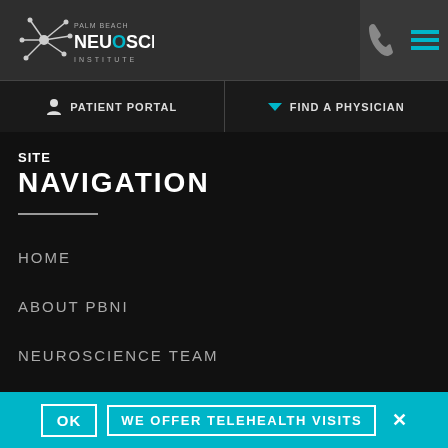[Figure (logo): Palm Beach Neuroscience Institute logo with neuron/star graphic and text 'PALM BEACH NEUROSCIENCE INSTITUTE']
PATIENT PORTAL
FIND A PHYSICIAN
SITE
NAVIGATION
HOME
ABOUT PBNI
NEUROSCIENCE TEAM
OUR SERVICES
OK  WE OFFER TELEHEALTH VISITS